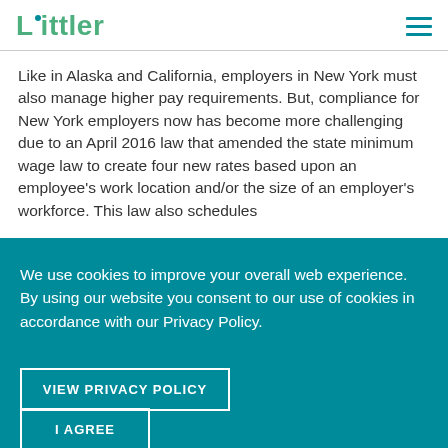Littler
Like in Alaska and California, employers in New York must also manage higher pay requirements. But, compliance for New York employers now has become more challenging due to an April 2016 law that amended the state minimum wage law to create four new rates based upon an employee's work location and/or the size of an employer's workforce. This law also schedules annual wage increases that are unique to each rate.
We use cookies to improve your overall web experience. By using our website you consent to our use of cookies in accordance with our Privacy Policy.
VIEW PRIVACY POLICY
I AGREE